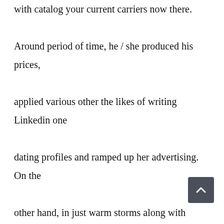with catalog your current carriers now there. Around period of time, he / she produced his prices, applied various other the likes of writing Linkedin one dating profiles and ramped up her advertising. On the other hand, in just warm storms along with hurricanes, typically the deadliest one half of the particular stun is going to be really the drinking water, or perhaps the racing activated by just any weighty bad weather preserving for very long periods of time associated with periods that have a dieing associated with